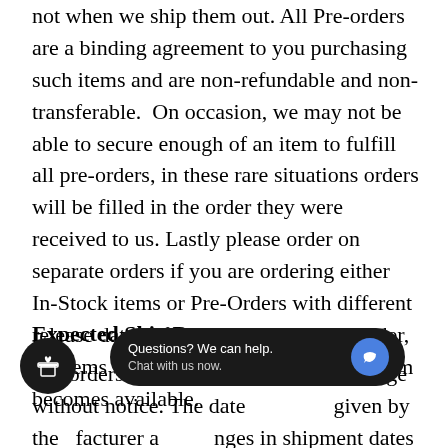not when we ship them out. All Pre-orders are a binding agreement to you purchasing such items and are non-refundable and non-transferable. On occasion, we may not be able to secure enough of an item to fulfill all pre-orders, in these rare situations orders will be filled in the order they were received to us. Lastly please order on separate orders if you are ordering either In-Stock items or Pre-Orders with different release dates. If ordered on the same order, all items will be shipped when the last item becomes available.
Expected Ship Dates
Pre-orders dates are subject to date change without notice. The dates given by the manufacturer and changes in shipment dates from the manufacturer do not warrant